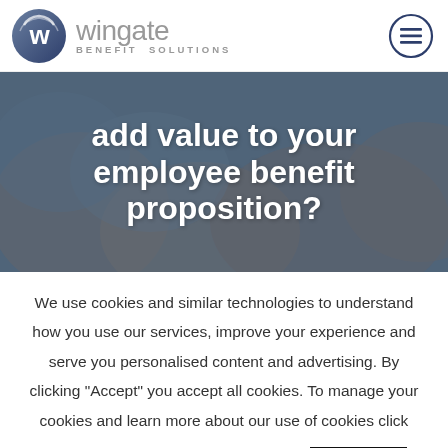wingate BENEFIT SOLUTIONS
[Figure (photo): Background photo of people joining hands together, with a blue-grey overlay and large white text reading: add value to your employee benefit proposition?]
add value to your employee benefit proposition?
We use cookies and similar technologies to understand how you use our services, improve your experience and serve you personalised content and advertising. By clicking "Accept" you accept all cookies. To manage your cookies and learn more about our use of cookies click "Cookie Settings".
Cookie Settings   CLOSE